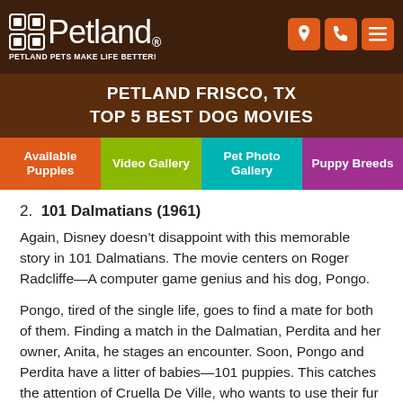Petland — PETLAND PETS MAKE LIFE BETTER!
PETLAND FRISCO, TX
TOP 5 BEST DOG MOVIES
Available Puppies | Video Gallery | Pet Photo Gallery | Puppy Breeds
2. 101 Dalmatians (1961)
Again, Disney doesn't disappoint with this memorable story in 101 Dalmatians. The movie centers on Roger Radcliffe—A computer game genius and his dog, Pongo.
Pongo, tired of the single life, goes to find a mate for both of them. Finding a match in the Dalmatian, Perdita and her owner, Anita, he stages an encounter. Soon, Pongo and Perdita have a litter of babies—101 puppies. This catches the attention of Cruella De Ville, who wants to use their fur to make a coat for herself.